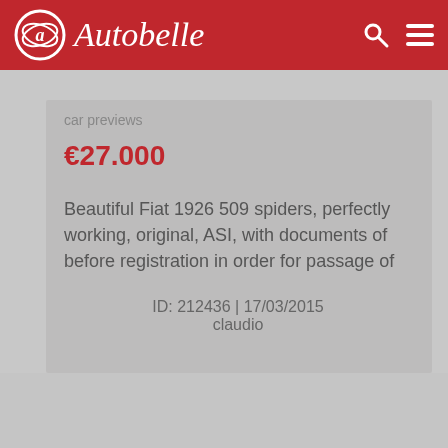Autobelle
€27.000
Beautiful Fiat 1926 509 spiders, perfectly working, original, ASI, with documents of before registration in order for passage of
ID: 212436 | 17/03/2015
claudio